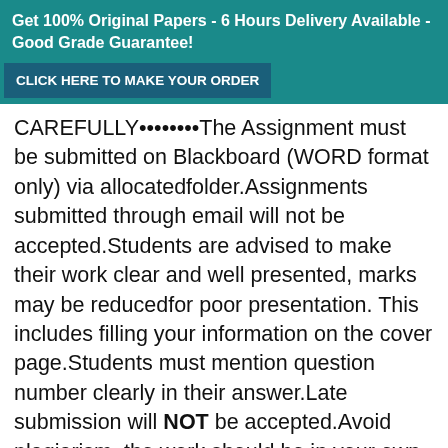Get 100% Original Papers - 6 Hours Delivery Available - Good Grade Guarantee! CLICK HERE TO MAKE YOUR ORDER
CAREFULLY••••••••The Assignment must be submitted on Blackboard (WORD format only) via allocatedfolder.Assignments submitted through email will not be accepted.Students are advised to make their work clear and well presented, marks may be reducedfor poor presentation. This includes filling your information on the cover page.Students must mention question number clearly in their answer.Late submission will NOT be accepted.Avoid plagiarism, the work should be in your own words, copying from students or otherresources without